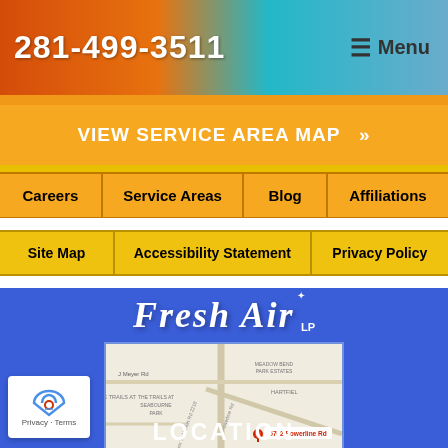281-499-3511  Menu
VIEW SERVICE AREA MAP  »
Careers
Service Areas
Blog
Affiliations
Site Map
Accessibility Statement
Privacy Policy
[Figure (logo): Fresh Air LP logo in white italic script with star accent on blue background]
[Figure (map): Google Maps embed showing location at 5702 Powerline Rd with red pin marker, showing surrounding streets including J Meyer Rd, Powerline Rd, Farm To Market Rd 2218, and neighborhoods THE TRAILS AT SEABOURNE PARK, MEADOW BEND PARK ESTATES, HARTFIEL, SEABOURNE CREEK FARMS]
LOCATION